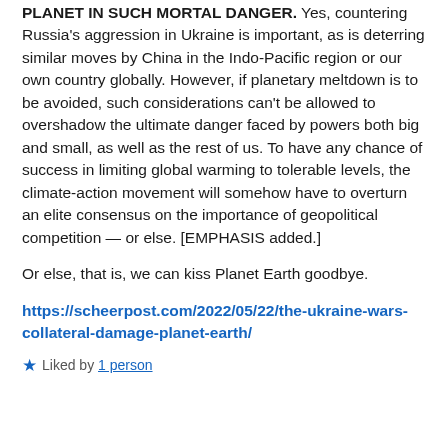PLANET IN SUCH MORTAL DANGER. Yes, countering Russia's aggression in Ukraine is important, as is deterring similar moves by China in the Indo-Pacific region or our own country globally. However, if planetary meltdown is to be avoided, such considerations can't be allowed to overshadow the ultimate danger faced by powers both big and small, as well as the rest of us. To have any chance of success in limiting global warming to tolerable levels, the climate-action movement will somehow have to overturn an elite consensus on the importance of geopolitical competition — or else. [EMPHASIS added.]
Or else, that is, we can kiss Planet Earth goodbye.
https://scheerpost.com/2022/05/22/the-ukraine-wars-collateral-damage-planet-earth/
Liked by 1 person